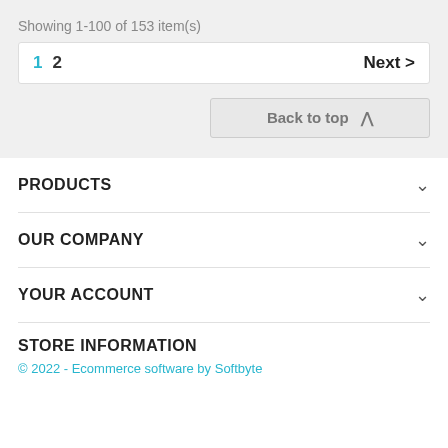Showing 1-100 of 153 item(s)
1  2   Next >
Back to top ^
PRODUCTS
OUR COMPANY
YOUR ACCOUNT
STORE INFORMATION
© 2022 - Ecommerce software by Softbyte